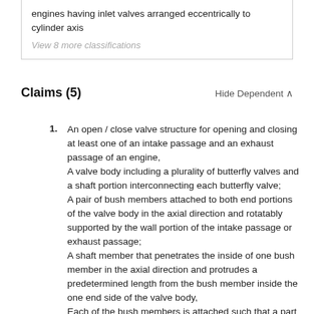engines having inlet valves arranged eccentrically to cylinder axis
View 8 more classifications
Claims (5)
Hide Dependent
1. An open / close valve structure for opening and closing at least one of an intake passage and an exhaust passage of an engine, A valve body including a plurality of butterfly valves and a shaft portion interconnecting each butterfly valve; A pair of bush members attached to both end portions of the valve body in the axial direction and rotatably supported by the wall portion of the intake passage or exhaust passage; A shaft member that penetrates the inside of one bush member in the axial direction and protrudes a predetermined length from the bush member inside the one end side of the valve body, Each of the bush members is attached such that a part thereof is fitted in the end portion of the valve body in the